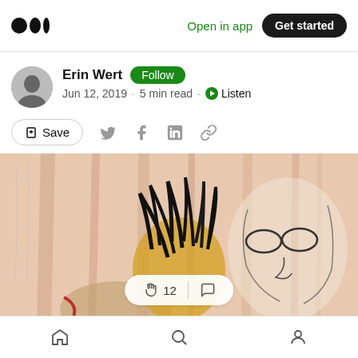Medium logo | Open in app | Get started
Erin Wert · Follow · Jun 12, 2019 · 5 min read · Listen
Save (share icons: Twitter, Facebook, LinkedIn, link)
[Figure (illustration): Artwork showing sketched human faces with mixed media — watercolor and charcoal style, warm pink and yellow tones, two figures visible. Clap count: 12 shown with a comment icon overlay.]
Home | Search | Profile (bottom navigation bar)